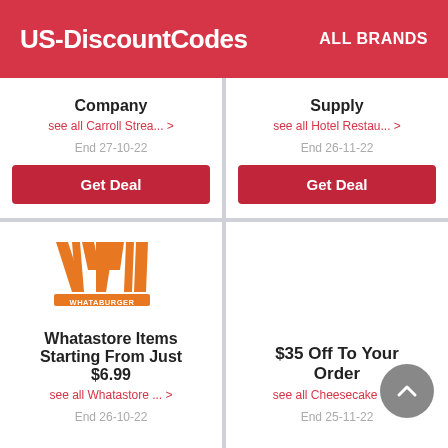US-DiscountCodes   ALL BRANDS
Company
see all Carroll Strea... >
End 27-10-22
Get Deal
Supply
see all Hotel Restau... >
End 26-11-22
Get Deal
[Figure (logo): Whataburger orange W logo with WHATABURGER text below]
Whatastore Items Starting From Just $6.99
see all Whatastore ... >
End 26-10-22
$35 Off To Your Order
see all Cheesecake ... >
End 25-11-22